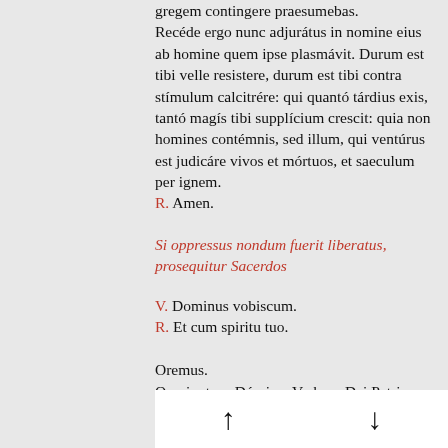gregem contingere praesumebas. Recéde ergo nunc adjurátus in nomine eius ab homine quem ipse plasmávit. Durum est tibi velle resistere, durum est tibi contra stimulum calcitrare: qui quanto tardius exis, tanto magis tibi supplicium crescit: quia non homines contemnis, sed illum, qui venturus est judicare vivos et mortuos, et saeculum per ignem.
R. Amen.
Si oppressus nondum fuerit liberatus, prosequitur Sacerdos
V. Dominus vobiscum.
R. Et cum spiritu tuo.
Oremus.
Omnipotens Domine, Verbum Dei Patris, Christe Jesu, Deus et Dominus universae creaturae, qui sanctis Apostolis tuis dedisti potestatem
↑  ↓